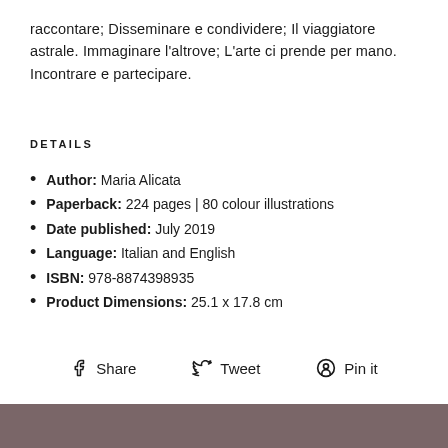raccontare; Disseminare e condividere; Il viaggiatore astrale. Immaginare l'altrove; L'arte ci prende per mano. Incontrare e partecipare.
DETAILS
Author: Maria Alicata
Paperback: 224 pages | 80 colour illustrations
Date published: July 2019
Language: Italian and English
ISBN: 978-8874398935
Product Dimensions: 25.1 x 17.8 cm
Share   Tweet   Pin it